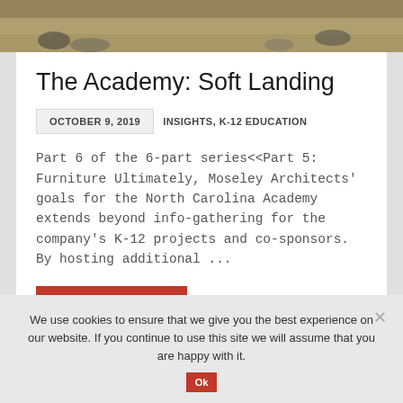[Figure (photo): Partial photo strip at top showing people's feet and lower bodies on a ground surface]
The Academy: Soft Landing
OCTOBER 9, 2019    INSIGHTS, K-12 EDUCATION
Part 6 of the 6-part series<<Part 5: Furniture Ultimately, Moseley Architects' goals for the North Carolina Academy extends beyond info-gathering for the company's K-12 projects and co-sponsors. By hosting additional ...
READ MORE
We use cookies to ensure that we give you the best experience on our website. If you continue to use this site we will assume that you are happy with it.
Ok